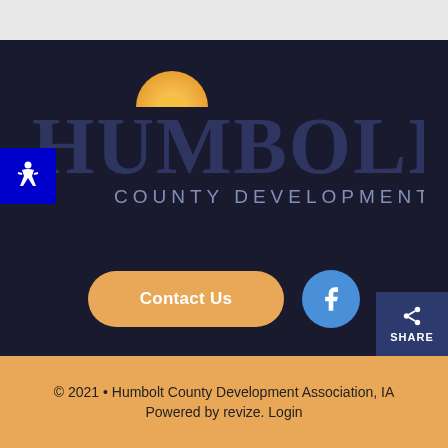[Figure (logo): Humboldt County Development Association logo — dark navy text spelling HUMBOLDT with a golden sunrise icon above the U, and subtitle COUNTY DEVELOPMENT ASSOCIATION]
[Figure (other): Blue wheelchair accessibility icon button on the left side]
Contact Us
[Figure (other): Facebook icon circular blue button]
[Figure (other): Share button in dark navy with share icon]
© 2021 • Humbolt County Development Association, IA Powered by revize. Login